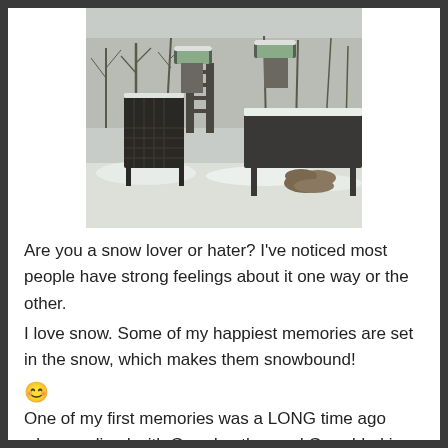[Figure (photo): A snow-covered outdoor patio scene with wrought-iron chairs and a table dusted with snow, planters with snow, and bare trees in the background.]
Are you a snow lover or hater? I've noticed most people have strong feelings about it one way or the other.
I love snow. Some of my happiest memories are set in the snow, which makes them snowbound! 😊
One of my first memories was a LONG time ago when we lived with Grandmother and Granddad in Old Mannford. I remember one January when it